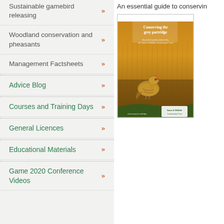Sustainable gamebird releasing »
Woodland conservation and pheasants »
Management Factsheets »
Advice Blog »
Courses and Training Days »
General Licences »
Educational Materials »
Game 2020 Conference Videos »
An essential guide to conserving
[Figure (photo): Cover of 'Conserving the grey partridge' booklet published by Game & Wildlife Conservation Trust, showing a grey partridge bird in a field of golden crops.]